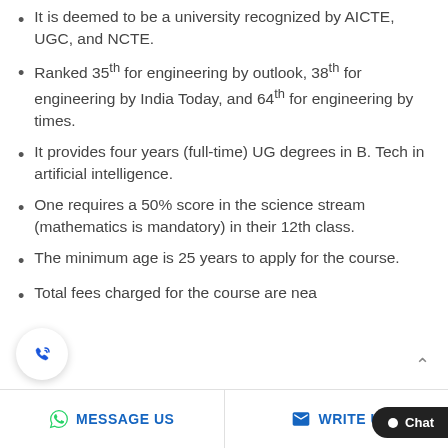It is deemed to be a university recognized by AICTE, UGC, and NCTE.
Ranked 35th for engineering by outlook, 38th for engineering by India Today, and 64th for engineering by times.
It provides four years (full-time) UG degrees in B. Tech in artificial intelligence.
One requires a 50% score in the science stream (mathematics is mandatory) in their 12th class.
The minimum age is 25 years to apply for the course.
Total fees charged for the course are nea
MESSAGE US   WRITE U   Chat